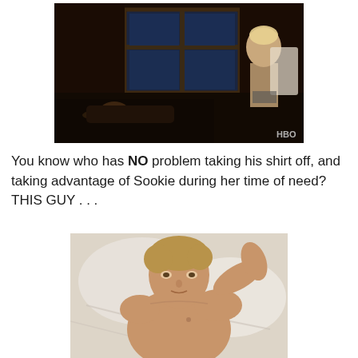[Figure (photo): Dark bedroom scene from HBO show True Blood showing a woman in lingerie standing near a window at night, and a man lying on a bed. HBO watermark visible in bottom right corner.]
You know who has NO problem taking his shirt off, and taking advantage of Sookie during her time of need?  THIS GUY . . .
[Figure (photo): Shirtless man with short light brown hair lying on white bedding, looking at camera with one hand behind his head.]